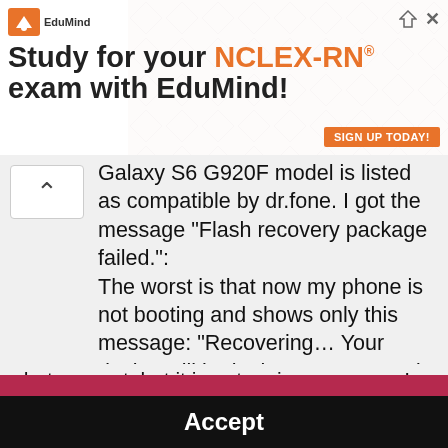[Figure (screenshot): EduMind advertisement banner: logo top left, triangle/share icon and X top right, bold headline 'Study for your NCLEX-RN® exam with EduMind!' with NCLEX-RN in orange, diamond pattern background, SIGN UP TODAY button bottom right]
Galaxy S6 G920F model is listed as compatible by dr.fone. I got the message "Flash recovery package failed.": The worst is that now my phone is not booting and shows only this message: "Recovering… Your device will be in the recovery mode all though the recovery process. Tip: If the data recovery is completed but your device keeps
We use cookies to optimize our website and our service.  Do Not Sell My Personal Information - Privacy statement
Accept
photos great, but it is not an issue now as I